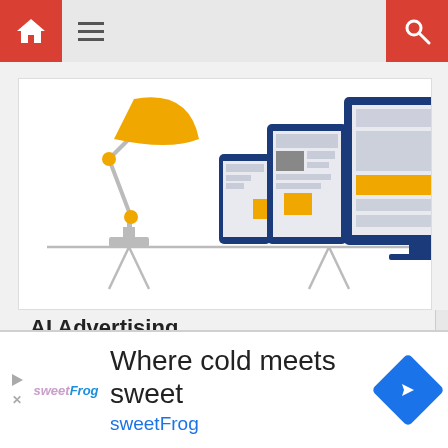[Figure (screenshot): Website navigation bar with red home icon on left, hamburger menu, and red search icon on right]
[Figure (illustration): AI Advertising illustration showing a desk lamp, smartphone, tablet, and desktop monitor with webpage layouts displayed, all in dark blue and yellow colors]
AI Advertising
Reach Your Audience    Start Ad >
[Figure (screenshot): Bottom banner ad for sweetFrog: Where cold meets sweet, sweetFrog, with navigation arrow icon]